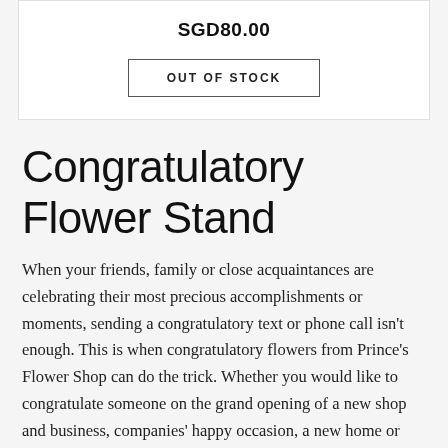SGD80.00
OUT OF STOCK
Congratulatory Flower Stand
When your friends, family or close acquaintances are celebrating their most precious accomplishments or moments, sending a congratulatory text or phone call isn't enough. This is when congratulatory flowers from Prince's Flower Shop can do the trick. Whether you would like to congratulate someone on the grand opening of a new shop and business, companies' happy occasion, a new home or any personal moment, congratulatory flower arrangements from Prince's Flower Shop can be your one-stop solution to express your goodwill and